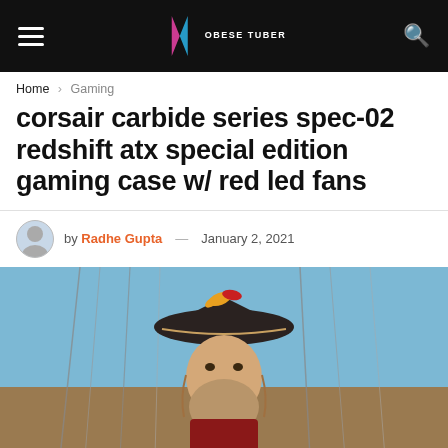ObEse Tuber
Home > Gaming
corsair carbide series spec-02 redshift atx special edition gaming case w/ red led fans
by Radhe Gupta — January 2, 2021
[Figure (photo): A person dressed as a pirate with a tricorn hat decorated with feathers, photographed outdoors with masts and rigging in the background.]